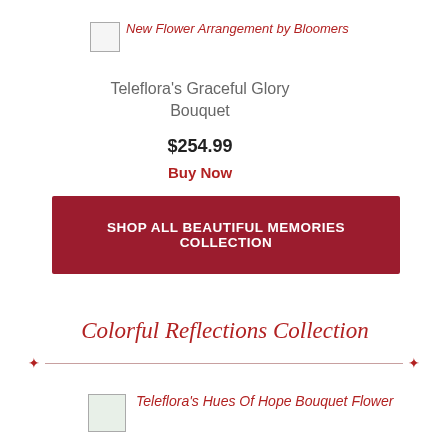[Figure (photo): Broken image placeholder for New Flower Arrangement by Bloomers]
Teleflora's Graceful Glory Bouquet
$254.99
Buy Now
SHOP ALL BEAUTIFUL MEMORIES COLLECTION
Colorful Reflections Collection
[Figure (photo): Broken image placeholder for Teleflora's Hues Of Hope Bouquet Flower]
Teleflora's Hues Of Hope Bouquet Flower